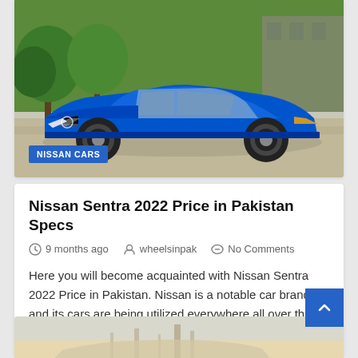[Figure (photo): Blue Nissan Sentra 2022 sedan parked in front of a modern building with green trees in the background. A 'NISSAN CARS' label badge appears in the bottom-left of the image.]
Nissan Sentra 2022 Price in Pakistan Specs
9 months ago   wheelsinpak   No Comments
Here you will become acquainted with Nissan Sentra 2022 Price in Pakistan. Nissan is a notable car brand and its cars are being utilized everywhere all over the world from…
[Figure (photo): Partial view of another car article image at the bottom of the page, showing a light tan/cream colored background with a car silhouette.]